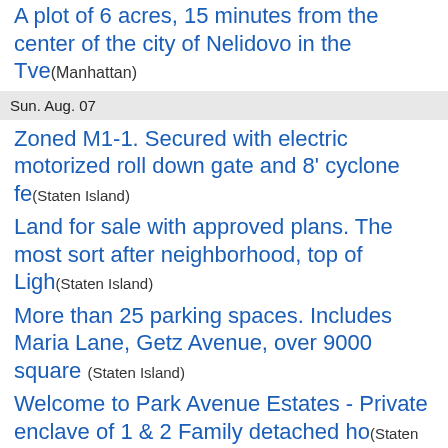A plot of 6 acres, 15 minutes from the center of the city of Nelidovo in the Tve (Manhattan)
Sun. Aug. 07
Zoned M1-1. Secured with electric motorized roll down gate and 8' cyclone fe (Staten Island)
Land for sale with approved plans. The most sort after neighborhood, top of Ligh (Staten Island)
More than 25 parking spaces. Includes Maria Lane, Getz Avenue, over 9000 square (Staten Island)
Welcome to Park Avenue Estates - Private enclave of 1 & 2 Family detached ho (Staten Island)
Fri. Aug. 05
Morisania R7 Residential Lot for Sale. The lot sits in a beautiful residential n (Bronx)
This magnificent Waterfront Property - is a great opportunity for water lover… (Bronx)
Calling all builders and investors!! Double lots! 50x100 total. House is on one (Queens)